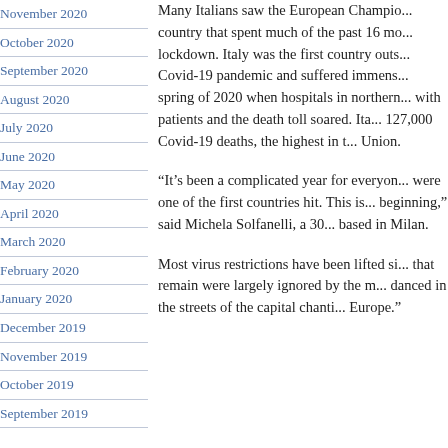November 2020
October 2020
September 2020
August 2020
July 2020
June 2020
May 2020
April 2020
March 2020
February 2020
January 2020
December 2019
November 2019
October 2019
September 2019
Many Italians saw the European Champio... country that spent much of the past 16 mo... lockdown. Italy was the first country outs... Covid-19 pandemic and suffered immens... spring of 2020 when hospitals in northern... with patients and the death toll soared. Ita... 127,000 Covid-19 deaths, the highest in t... Union.
“It’s been a complicated year for everyon... were one of the first countries hit. This is... beginning,” said Michela Solfanelli, a 30... based in Milan.
Most virus restrictions have been lifted si... that remain were largely ignored by the m... danced in the streets of the capital chanti... Europe.”